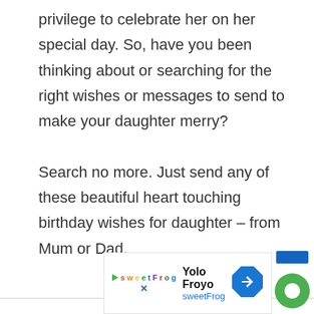privilege to celebrate her on her special day. So, have you been thinking about or searching for the right wishes or messages to send to make your daughter merry?

Search no more. Just send any of these beautiful heart touching birthday wishes for daughter – from Mum or Dad.
[Figure (screenshot): Advertisement banner for Yolo Froyo by sweetFrog with logo, title, subtitle, navigation arrow icon, and a green chat/close button]